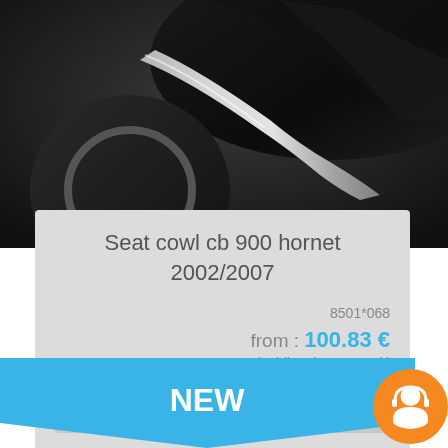[Figure (photo): Close-up photo of a motorcycle exhaust pipe and front wheel/fairing in dark tones]
Seat cowl cb 900 hornet 2002/2007
8501*068
from : 100.83 €
(public price vat excl.)
details
NEW